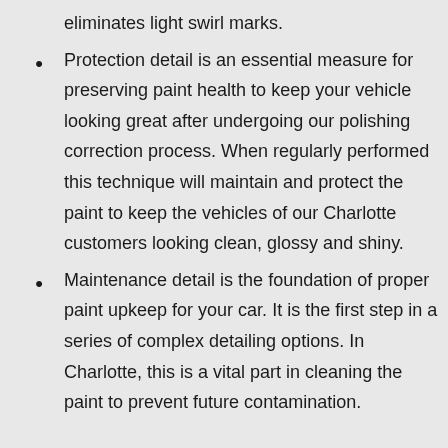eliminates light swirl marks.
Protection detail is an essential measure for preserving paint health to keep your vehicle looking great after undergoing our polishing correction process. When regularly performed this technique will maintain and protect the paint to keep the vehicles of our Charlotte customers looking clean, glossy and shiny.
Maintenance detail is the foundation of proper paint upkeep for your car. It is the first step in a series of complex detailing options. In Charlotte, this is a vital part in cleaning the paint to prevent future contamination.